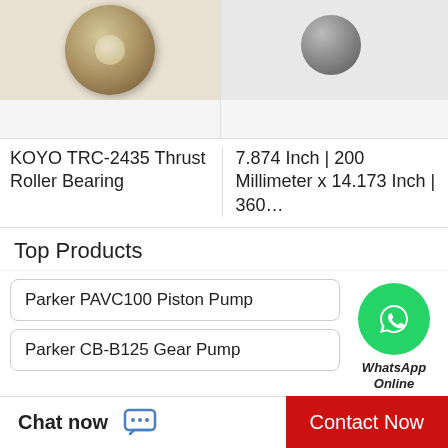[Figure (photo): KOYO TRC-2435 Thrust Roller Bearing product photo - circular bearing with gold/bronze color on white fabric background]
[Figure (photo): Large bearing or shaft component photo - cylindrical metal part on white background, partially cropped]
KOYO TRC-2435 Thrust Roller Bearing
7.874 Inch | 200 Millimeter x 14.173 Inch | 360…
Top Products
Parker PAVC100 Piston Pump
Parker CB-B125 Gear Pump
[Figure (logo): WhatsApp green circle logo with phone handset icon, labeled WhatsApp Online]
IKO CFES6BUU Cam Follower and Track Roller - Stud Type
KOYO TRC-2435 Insert Platen Bearing
Chat now
Contact Now